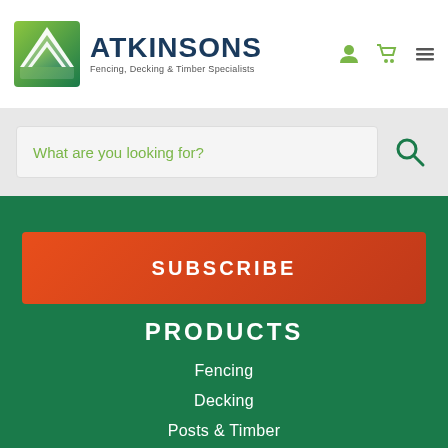[Figure (logo): Atkinsons logo with green triangular roof/tent icon and dark blue company name text 'ATKINSONS' with tagline 'Fencing, Decking & Timber Specialists']
What are you looking for?
SUBSCRIBE
PRODUCTS
Fencing
Decking
Posts & Timber
Gates
Sheds & Garden Buildings